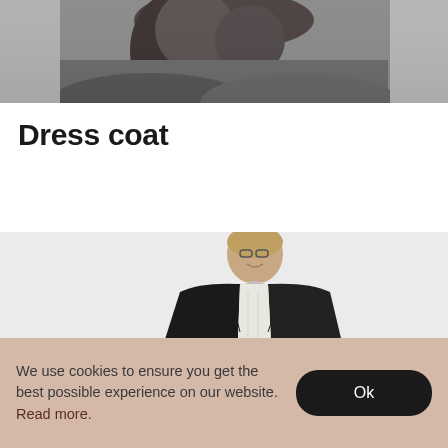[Figure (photo): Grayscale photo of a woman with curly hair wearing a coat, cropped to show shoulders and hair, top portion of page]
Dress coat
[Figure (photo): Photo of a man wearing a black dress coat with white shirt and bow tie, on a light gray background]
We use cookies to ensure you get the best possible experience on our website. Read more.